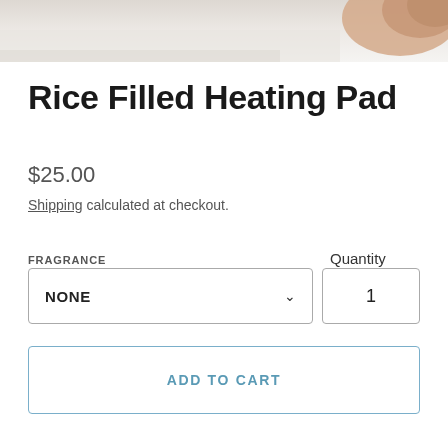[Figure (photo): Top portion of a product photo showing a rice filled heating pad with a hand visible in the upper right corner. The image is cropped at the top of the page.]
Rice Filled Heating Pad
$25.00
Shipping calculated at checkout.
FRAGRANCE
NONE
Quantity
1
ADD TO CART